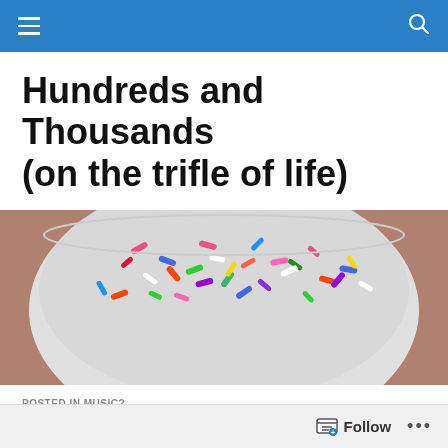≡  🔍
Hundreds and Thousands (on the trifle of life)
[Figure (photo): Close-up photo of a bowl of colorful sprinkles (hundreds and thousands) being held by a hand, with pink/mauve background.]
POSTED IN MUSIC?
Worst guitar playing ever?
About a million years ago, Deep Purple recorded an
Follow  •••